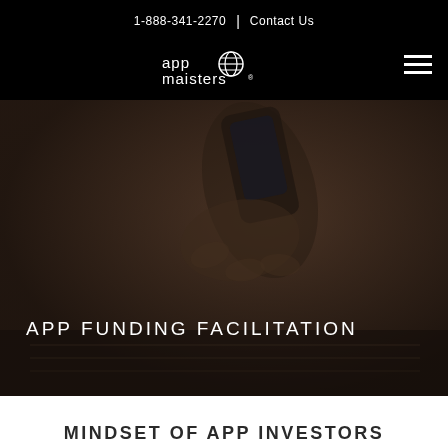1-888-341-2270  |  Contact Us
[Figure (logo): App Maisters logo — white text with globe icon on black background]
[Figure (photo): Dark photo of hands holding a smartphone over a laptop keyboard, heavily dimmed/overlaid]
APP FUNDING FACILITATION
MINDSET OF APP INVESTORS